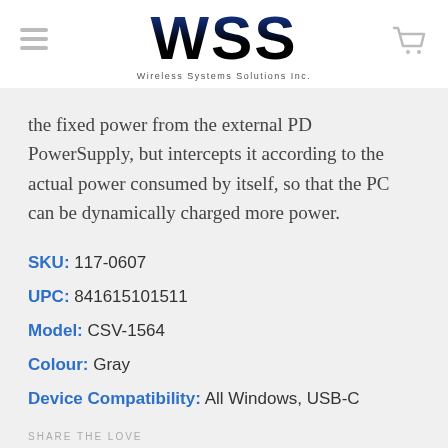[Figure (logo): WSS Wireless Systems Solutions Inc. logo with large bold blue-to-black WSS text and subtitle]
the fixed power from the external PD PowerSupply, but intercepts it according to the actual power consumed by itself, so that the PC can be dynamically charged more power.
SKU: 117-0607
UPC: 841615101511
Model: CSV-1564
Colour: Gray
Device Compatibility: All Windows, USB-C
SHARE THE LOVE